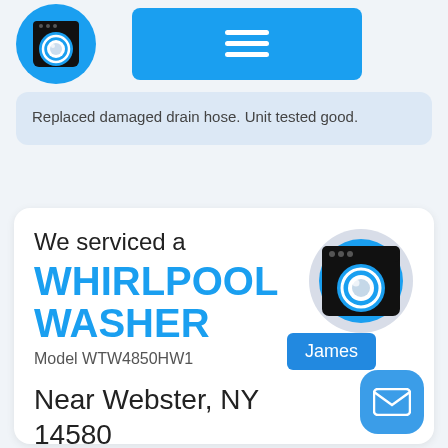[Figure (logo): Blue circle with washing machine icon (app logo)]
[Figure (screenshot): Blue rectangle menu button with three horizontal lines icon]
Replaced damaged drain hose. Unit tested good.
We serviced a
WHIRLPOOL WASHER
Model WTW4850HW1
Near Webster, NY 14580
[Figure (illustration): Circular washing machine icon with grey outer ring and blue inner circle, black washer silhouette]
James
[Figure (illustration): Blue rounded square email/envelope button]